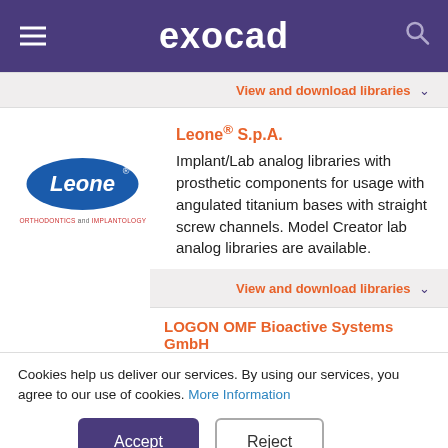exocad
View and download libraries
Leone® S.p.A. Implant/Lab analog libraries with prosthetic components for usage with angulated titanium bases with straight screw channels. Model Creator lab analog libraries are available.
[Figure (logo): Leone logo - blue oval with white text 'Leone' and subtitle 'ORTHODONTICS and IMPLANTOLOGY']
View and download libraries
LOGON OMF Bioactive Systems GmbH
Cookies help us deliver our services. By using our services, you agree to our use of cookies. More Information
Accept
Reject